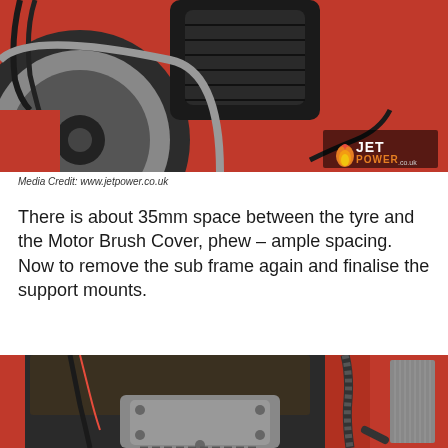[Figure (photo): Photo of a red car's wheel well area showing a motor brush cover near the tyre, with black hoses visible. JetPower.co.uk logo in bottom right corner of image.]
Media Credit: www.jetpower.co.uk
There is about 35mm space between the tyre and the Motor Brush Cover, phew – ample spacing. Now to remove the sub frame again and finalise the support mounts.
[Figure (photo): Photo of a red car's engine bay showing motor installation with wiring (red and black cables), metal sub-frame components, braided hoses, and mechanical hardware on the right side.]